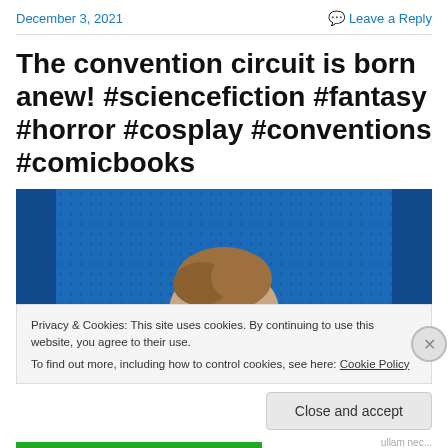December 3, 2021   Leave a Reply
The convention circuit is born anew! #sciencefiction #fantasy #horror #cosplay #conventions #comicbooks
[Figure (photo): Partial view of a person's head against a blue dotted/grid background, visible from the top of the frame.]
Privacy & Cookies: This site uses cookies. By continuing to use this website, you agree to their use.
To find out more, including how to control cookies, see here: Cookie Policy
Close and accept